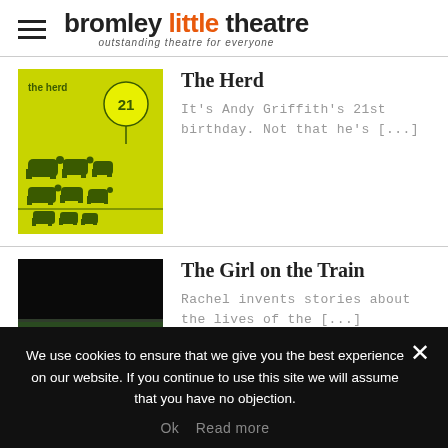bromley little theatre — outstanding theatre for everyone
The Herd
It's Andy Griffith's 21st birthday. Not that he's [...]
[Figure (photo): Yellow-green poster for 'The Herd' showing silhouetted cattle and a balloon with '21']
The Girl on the Train
Rachel invents stories about the lives of the [...]
[Figure (photo): Dark photo of person on platform with a train passing by showing yellow stripe]
We use cookies to ensure that we give you the best experience on our website. If you continue to use this site we will assume that you have no objection.
Ok   Read more